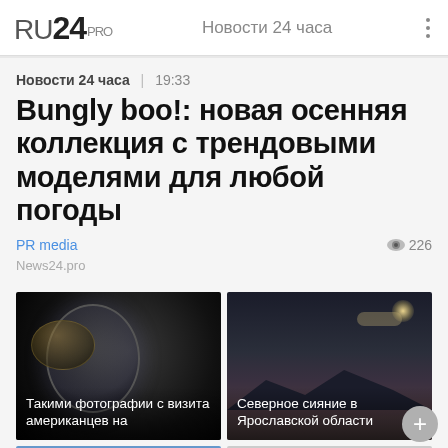RU24PRO  Новости 24 часа
Новости 24 часа | 19:33
Bungly boo!: новая осенняя коллекция с трендовыми моделями для любой погоды
PR media   226
News24.pro
[Figure (photo): Dark photo of astronaut in space suit with reflective helmet visor, with Russian caption: Такими фотографии с визита американцев на]
[Figure (photo): Night sky photo with mountains silhouette and moon, with Russian caption: Северное сияние в Ярославской области]
[Figure (photo): Partial bottom-left thumbnail showing blue sky or sign]
[Figure (photo): Partial bottom-right thumbnail, light colored, partially visible]